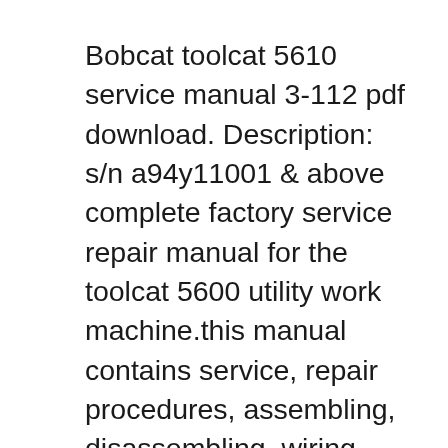Bobcat toolcat 5610 service manual 3-112 pdf download. Description: s/n a94y11001 & above complete factory service repair manual for the toolcat 5600 utility work machine.this manual contains service, repair procedures, assembling, disassembling, wiring diagrams and everything you need to know.. Machine model bobcat toolcat 5610 service manual 3-112 pdf download this shop manual may contain attachments and optional equipment that are not. machine model bobcat toolcat 5610 service manual 3-112 pdf download this shop manual may contain attachments and optional equipment that are not.....